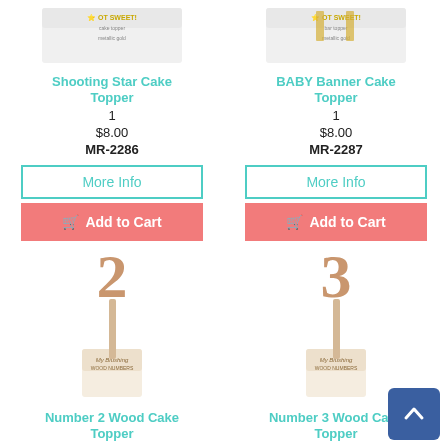[Figure (photo): Shooting Star Cake Topper product image - white packaging with gold text]
Shooting Star Cake Topper
1
$8.00
MR-2286
More Info
Add to Cart
[Figure (photo): BABY Banner Cake Topper product image - white packaging with gold text]
BABY Banner Cake Topper
1
$8.00
MR-2287
More Info
Add to Cart
[Figure (photo): Number 2 Wood Cake Topper - wooden number 2 on a stick with packaging]
Number 2 Wood Cake Topper
[Figure (photo): Number 3 Wood Cake Topper - wooden number 3 on a stick with packaging]
Number 3 Wood Cake Topper